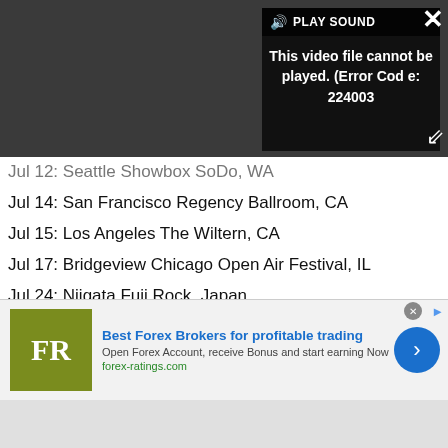[Figure (screenshot): Video player showing error: This video file cannot be played. (Error Code: 224003). Has PLAY SOUND bar, close button (X), and expand button.]
Jul 12: Seattle Showbox SoDo, WA
Jul 14: San Francisco Regency Ballroom, CA
Jul 15: Los Angeles The Wiltern, CA
Jul 17: Bridgeview Chicago Open Air Festival, IL
Jul 24: Niigata Fuji Rock, Japan
Aug 6-7: Rock In Japan, Japan
Aug 12-13: Rising Sun Rock Festival, Japan
Aug 13-14: Rock In Japan, Japan
Aug 21: Osaka Summer Sonic, Japan
[Figure (screenshot): Advertisement for forex-ratings.com: Best Forex Brokers for profitable trading. Open Forex Account, receive Bonus and start earning Now. FR logo in olive/green square.]